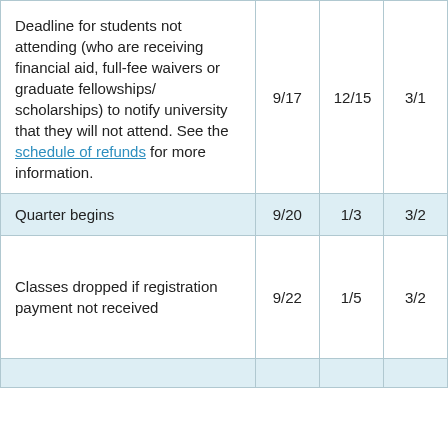| Description | Fall | Winter | Spring |
| --- | --- | --- | --- |
| Deadline for students not attending (who are receiving financial aid, full-fee waivers or graduate fellowships/ scholarships) to notify university that they will not attend. See the schedule of refunds for more information. | 9/17 | 12/15 | 3/1 |
| Quarter begins | 9/20 | 1/3 | 3/2 |
| Classes dropped if registration payment not received | 9/22 | 1/5 | 3/2 |
|  |  |  |  |